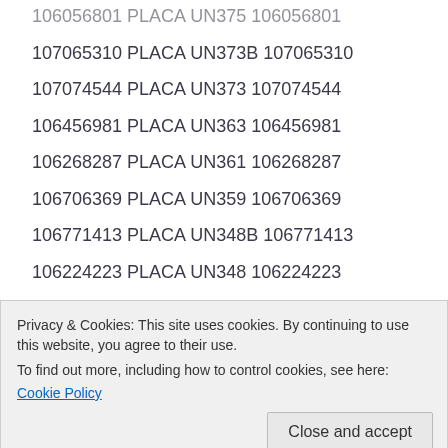106056801 PLACA UN375 106056801
107065310 PLACA UN373B 107065310
107074544 PLACA UN373 107074544
106456981 PLACA UN363 106456981
106268287 PLACA UN361 106268287
106706369 PLACA UN359 106706369
106771413 PLACA UN348B 106771413
106224223 PLACA UN348 106224223
106576440 PLACA UN33D 106576440
104380852 PLACA UN321 104380852
104369640 PLACA UN313 104369640
104369632 PLACA UN312 104369632
Privacy & Cookies: This site uses cookies. By continuing to use this website, you agree to their use.
To find out more, including how to control cookies, see here:
Cookie Policy
103812269 PLACA UN199 103812269